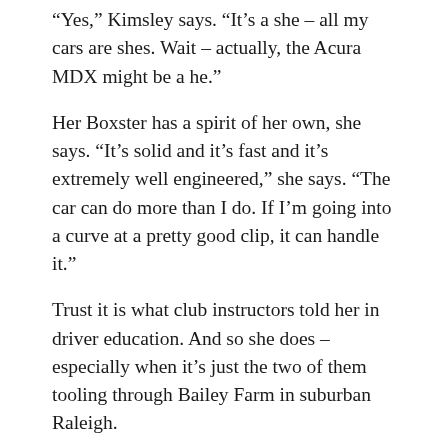“Yes,” Kimsley says. “It’s a she – all my cars are shes. Wait – actually, the Acura MDX might be a he.”
Her Boxster has a spirit of her own, she says. “It’s solid and it’s fast and it’s extremely well engineered,” she says. “The car can do more than I do. If I’m going into a curve at a pretty good clip, it can handle it.”
Trust it is what club instructors told her in driver education. And so she does – especially when it’s just the two of them tooling through Bailey Farm in suburban Raleigh.